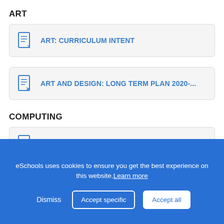ART
ART: CURRICULUM INTENT
ART AND DESIGN: LONG TERM PLAN 2020-...
COMPUTING
COMPUTING: CURRICULUM INTENT - draft o...
COMPUTING: LONG TERM PLAN 2020-2021
DESIGN AND TECHNOLOGY
eSchools uses cookies to ensure you get the best experience on this website. Learn more
Dismiss    Accept specific    Accept all